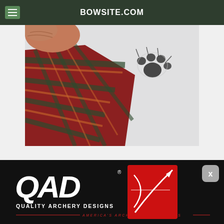BOWSITE.COM
[Figure (photo): Close-up photo of a person's arm in red/green plaid flannel shirt sleeve against white snowy background, with a dark animal paw print visible in the snow to the upper right]
[Figure (logo): QAD Quality Archery Designs advertisement banner on black background. White bold italic QAD text logo next to red box with white arrow/bow design. Tagline: AMERICA'S ARCHERY ACCESSORIES]